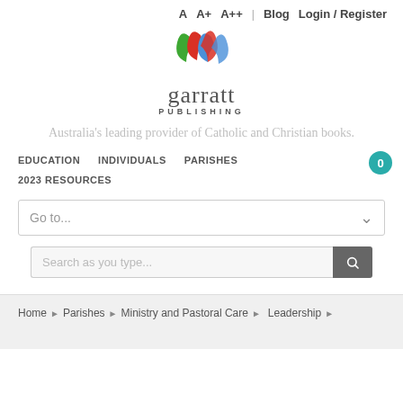A  A+  A++  Blog  Login / Register
[Figure (logo): Garratt Publishing logo with green, red, and blue curved marks above the text 'garratt PUBLISHING']
Australia’s leading provider of Catholic and Christian books.
EDUCATION  INDIVIDUALS  PARISHES  2023 RESOURCES
Go to...
Search as you type...
Home ▸ Parishes ▸ Ministry and Pastoral Care ▸ Leadership ▸